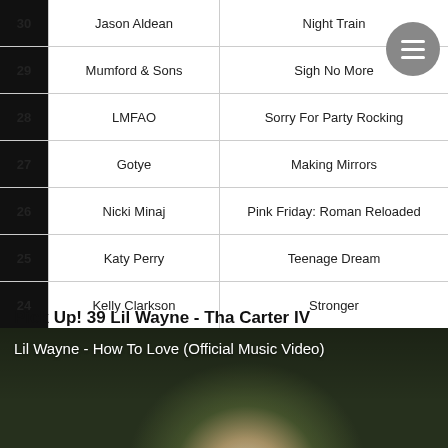| # | Artist | Album |
| --- | --- | --- |
| 30 | Jason Aldean | Night Train |
| 29 | Mumford & Sons | Sigh No More |
| 28 | LMFAO | Sorry For Party Rocking |
| 27 | Gotye | Making Mirrors |
| 26 | Nicki Minaj | Pink Friday: Roman Reloaded |
| 25 | Katy Perry | Teenage Dream |
| 24 | Kelly Clarkson | Stronger |
| 23 | Eric Church | Chief |
| 22 | Various Artists | NOW 41 |
| 21 | Maroon 5 | Overexposed |
Pick Up! 39 Lil Wayne - Tha Carter IV
[Figure (screenshot): Lil Wayne - How To Love (Official Music Video) thumbnail showing a person's head against a dark green background]